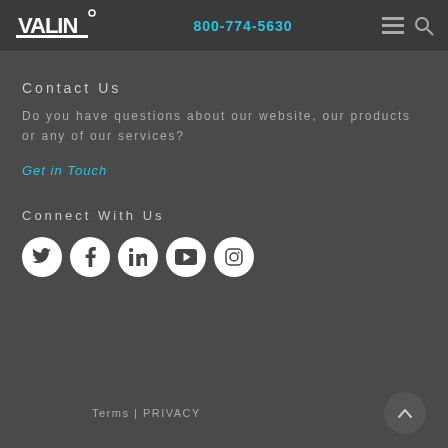VALIN | 800-774-5630
Contact Us
Do you have questions about our website, our products or any of our services?
Get in Touch
Connect With Us
[Figure (other): Social media icons: Twitter, Facebook, LinkedIn, YouTube, Instagram]
Terms | PRIVACY